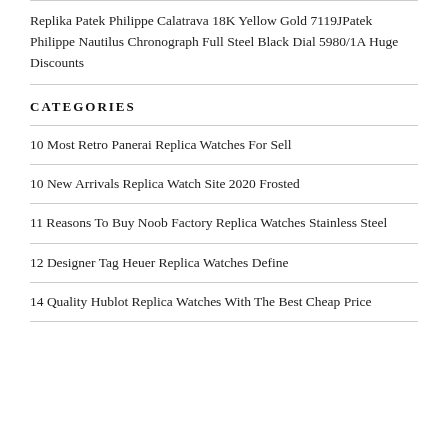Replika Patek Philippe Calatrava 18K Yellow Gold 7119JPatek Philippe Nautilus Chronograph Full Steel Black Dial 5980/1A Huge Discounts
CATEGORIES
10 Most Retro Panerai Replica Watches For Sell
10 New Arrivals Replica Watch Site 2020 Frosted
11 Reasons To Buy Noob Factory Replica Watches Stainless Steel
12 Designer Tag Heuer Replica Watches Define
14 Quality Hublot Replica Watches With The Best Cheap Price